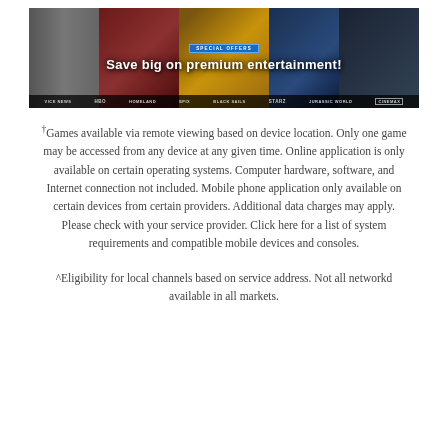[Figure (illustration): Promotional banner for streaming entertainment services showing 'SPECIAL OFFERS — Save big on premium entertainment!' with movie/TV imagery and logos: Vice News, HBO, Homeland, Epix, Black Sails, Starz, Jurassic World, Cinemax]
†Games available via remote viewing based on device location. Only one game may be accessed from any device at any given time. Online application is only available on certain operating systems. Computer hardware, software, and Internet connection not included. Mobile phone application only available on certain devices from certain providers. Additional data charges may apply. Please check with your service provider. Click here for a list of system requirements and compatible mobile devices and consoles.
^Eligibility for local channels based on service address. Not all networkd available in all markets.